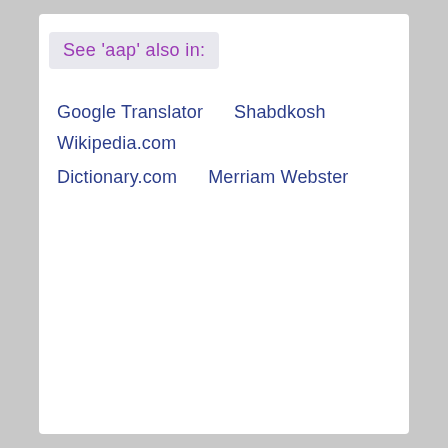See 'aap' also in:
Google Translator
Shabdkosh
Wikipedia.com
Dictionary.com
Merriam Webster